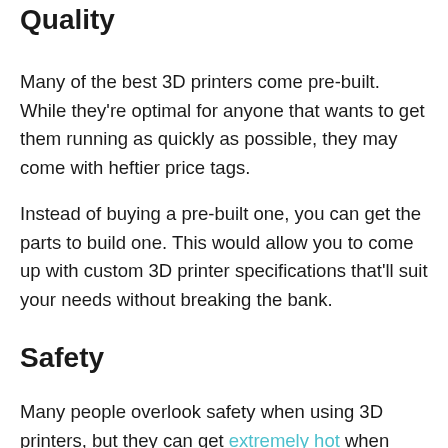Quality
Many of the best 3D printers come pre-built. While they're optimal for anyone that wants to get them running as quickly as possible, they may come with heftier price tags.
Instead of buying a pre-built one, you can get the parts to build one. This would allow you to come up with custom 3D printer specifications that'll suit your needs without breaking the bank.
Safety
Many people overlook safety when using 3D printers, but they can get extremely hot when printing an object. Because of this, you should find a printer that has an enclosure over the printing area